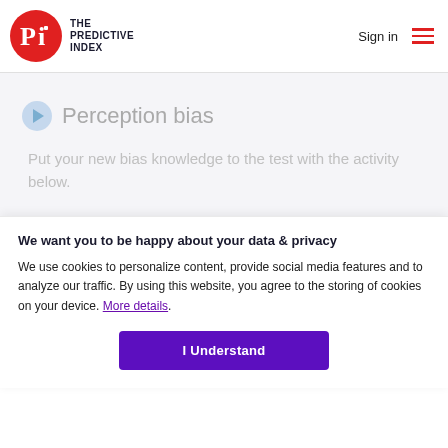The Predictive Index — Sign in
Perception bias
Put your new bias knowledge to the test with the activity below.
We want you to be happy about your data & privacy
We use cookies to personalize content, provide social media features and to analyze our traffic. By using this website, you agree to the storing of cookies on your device. More details.
I Understand